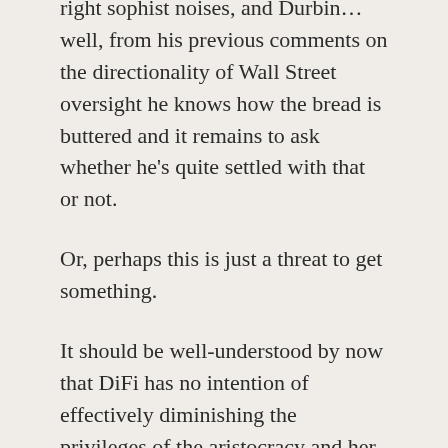right sophist noises, and Durbin… well, from his previous comments on the directionality of Wall Street oversight he knows how the bread is buttered and it remains to ask whether he's quite settled with that or not.
Or, perhaps this is just a threat to get something.
It should be well-understood by now that DiFi has no intention of effectively diminishing the privileges of the aristocracy and her tenure is of no benefit whatsoever to the median citizen. I suggest that kudos for a scripted heel-face turn would be out of order.